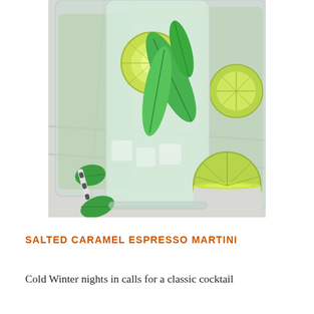[Figure (photo): Close-up photo of mojito cocktail glasses with lime slices, fresh mint leaves, and ice on a marble surface with a striped straw and lime half in background]
SALTED CARAMEL ESPRESSO MARTINI
Cold Winter nights in calls for a classic cocktail